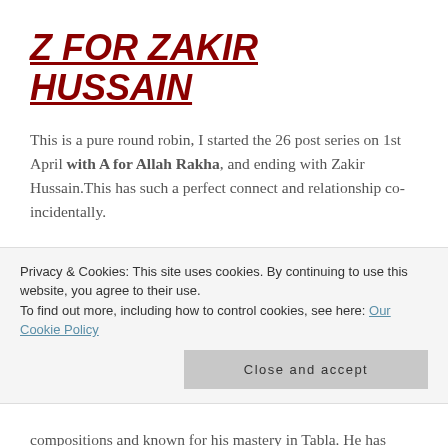Z FOR ZAKIR HUSSAIN
This is a pure round robin, I started the 26 post series on 1st April with A for Allah Rakha, and ending with Zakir Hussain.This has such a perfect connect and relationship co-incidentally.
1-Zakir Hussain is the son of A, i.e. Allah Rakha and
2-Like his father he is also a renowned Tabla maestro. He is not only popular in India, but also across Europe and
Privacy & Cookies: This site uses cookies. By continuing to use this website, you agree to their use.
To find out more, including how to control cookies, see here: Our Cookie Policy
compositions and known for his mastery in Tabla. He has